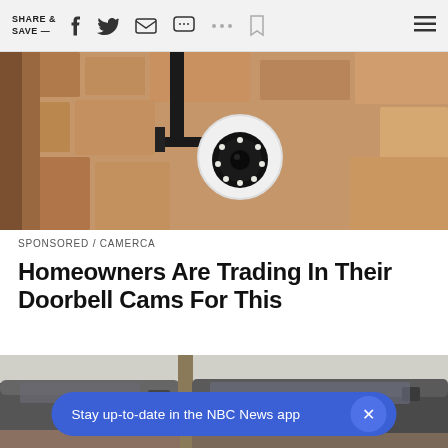SHARE & SAVE —
[Figure (photo): Close-up photo of a white security camera mounted on a bracket against a textured stone/stucco wall]
SPONSORED / CAMERCA
Homeowners Are Trading In Their Doorbell Cams For This
[Figure (photo): Photo of vehicles, appears to show tops/hoods of trucks or vans in a dusty outdoor setting]
Stay up-to-date in the NBC News app